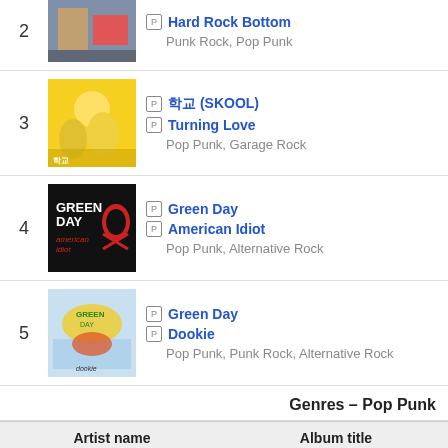2 | Hard Rock Bottom | Punk Rock, Pop Punk
3 | 학교 (SKOOL) | Turning Love | Pop Punk, Garage Rock
4 | Green Day | American Idiot | Pop Punk, Alternative Rock
5 | Green Day | Dookie | Pop Punk, Punk Rock, Alternative Rock
Genres – Pop Punk
| Artist name | Album title |
| --- | --- |